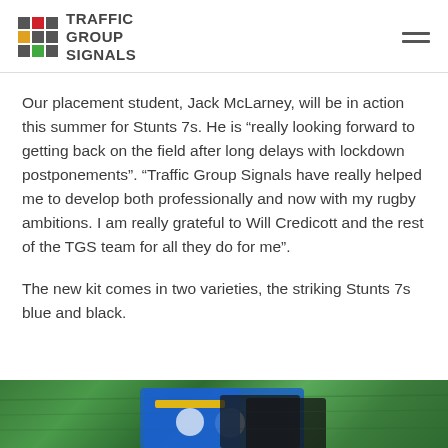TRAFFIC GROUP SIGNALS
Our placement student, Jack McLarney, will be in action this summer for Stunts 7s. He is “really looking forward to getting back on the field after long delays with lockdown postponements”. “Traffic Group Signals have really helped me to develop both professionally and now with my rugby ambitions. I am really grateful to Will Credicott and the rest of the TGS team for all they do for me”.
The new kit comes in two varieties, the striking Stunts 7s blue and black.
[Figure (photo): Bottom portion of a photo showing rugby kit on grass - blue and black Stunts 7s kit lying on green grass]